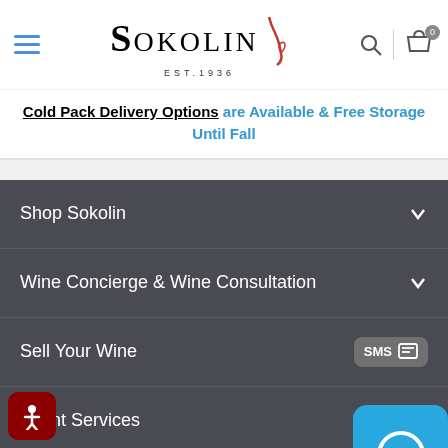Sokolin EST.1936 — navigation header with hamburger menu, logo, search icon, and cart icon
Cold Pack Delivery Options are Available & Free Storage Until Fall
Shop Sokolin
Wine Concierge & Wine Consultation
Sell Your Wine
Client Services
Blogs